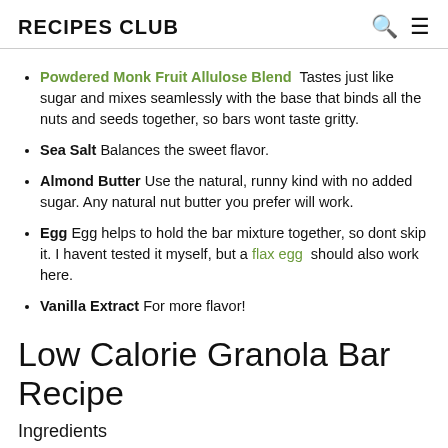RECIPES CLUB
Powdered Monk Fruit Allulose Blend  Tastes just like sugar and mixes seamlessly with the base that binds all the nuts and seeds together, so bars wont taste gritty.
Sea Salt Balances the sweet flavor.
Almond Butter Use the natural, runny kind with no added sugar. Any natural nut butter you prefer will work.
Egg Egg helps to hold the bar mixture together, so dont skip it. I havent tested it myself, but a flax egg should also work here.
Vanilla Extract For more flavor!
Low Calorie Granola Bar Recipe
Ingredients